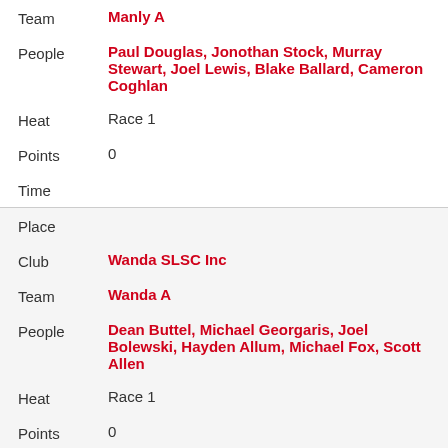| Team | Manly A |
| People | Paul Douglas, Jonothan Stock, Murray Stewart, Joel Lewis, Blake Ballard, Cameron Coghlan |
| Heat | Race 1 |
| Points | 0 |
| Time |  |
| Place |  |
| Club | Wanda SLSC Inc |
| Team | Wanda A |
| People | Dean Buttel, Michael Georgaris, Joel Bolewski, Hayden Allum, Michael Fox, Scott Allen |
| Heat | Race 1 |
| Points | 0 |